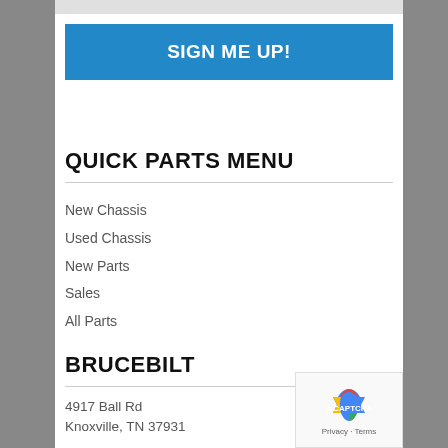[Figure (other): Blue 'SIGN ME UP!' button]
QUICK PARTS MENU
New Chassis
Used Chassis
New Parts
Sales
All Parts
BRUCEBILT
4917 Ball Rd
Knoxville, TN 37931